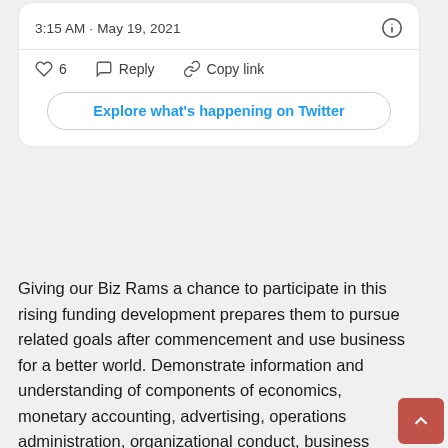3:15 AM · May 19, 2021
❤ 6   Reply   Copy link
Explore what's happening on Twitter
Giving our Biz Rams a chance to participate in this rising funding development prepares them to pursue related goals after commencement and use business for a better world. Demonstrate information and understanding of components of economics, monetary accounting, advertising, operations administration, organizational conduct, business regulation, data expertise, business statistics and social responsibility. To be successful in business, proficiency in monetary management is vital. Many organizations, non-profit groups and people need people who might help make choices on how funds and assets will be used sooner or later. With a finance degree from UNI Business, you'll be highly capable of managing property for a big selection of firms and individuals who